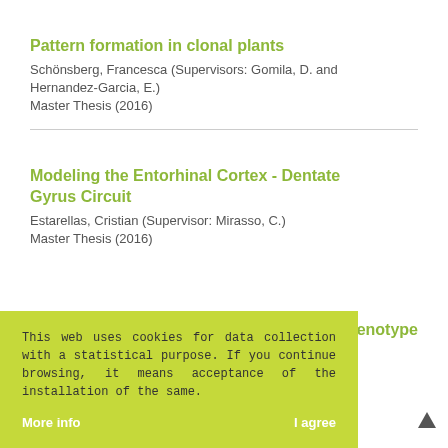Pattern formation in clonal plants
Schönsberg, Francesca (Supervisors: Gomila, D. and Hernandez-Garcia, E.)
Master Thesis (2016)
Modeling the Entorhinal Cortex - Dentate Gyrus Circuit
Estarellas, Cristian (Supervisor: Mirasso, C.)
Master Thesis (2016)
[Figure (screenshot): Cookie consent banner overlay in yellow-green background with text about cookie usage and 'More info' and 'I agree' buttons]
...phenotype
Mora Vicente, Rebeca (Supervisor: Hernandez-Garcia, Emilio)